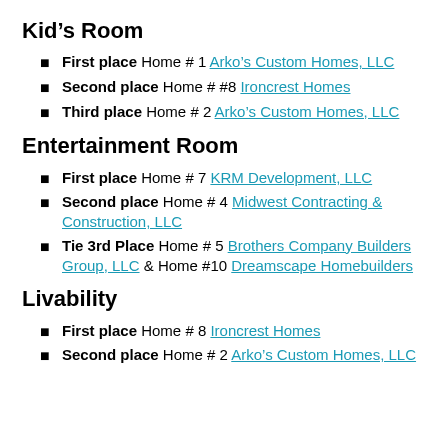Kid's Room
First place Home # 1 Arko's Custom Homes, LLC
Second place Home # #8 Ironcrest Homes
Third place Home # 2 Arko's Custom Homes, LLC
Entertainment Room
First place Home # 7 KRM Development, LLC
Second place Home # 4 Midwest Contracting & Construction, LLC
Tie 3rd Place Home # 5 Brothers Company Builders Group, LLC & Home #10 Dreamscape Homebuilders
Livability
First place Home # 8 Ironcrest Homes
Second place Home # 2 Arko's Custom Homes, LLC